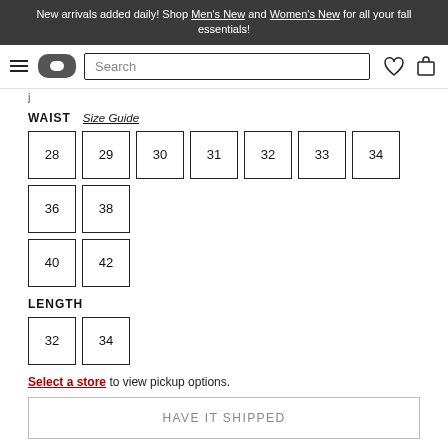New arrivals added daily! Shop Men's New and Women's New for all your fall essentials!
WAIST   Size Guide
Size options: 28, 29, 30, 31, 32, 33, 34, 36, 38, 40, 42
LENGTH
Length options: 32, 34
Select a store to view pickup options.
HAVE IT SHIPPED